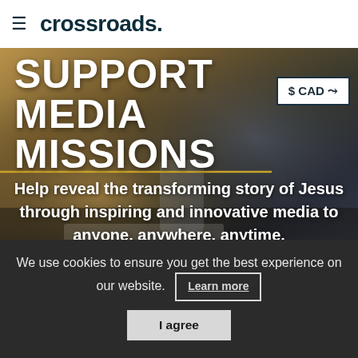≡ crossroads.
[Figure (screenshot): Hero banner image with a person using a phone/tablet on a desk, overlaid with large white text and a gold horizontal rule. Background shows a blurred workspace scene.]
SUPPORT MEDIA MISSIONS
$ CAD ∨
Help reveal the transforming story of Jesus through inspiring and innovative media to anyone, anywhere, anytime.
We use cookies to ensure you get the best experience on our website.
Learn more
I agree